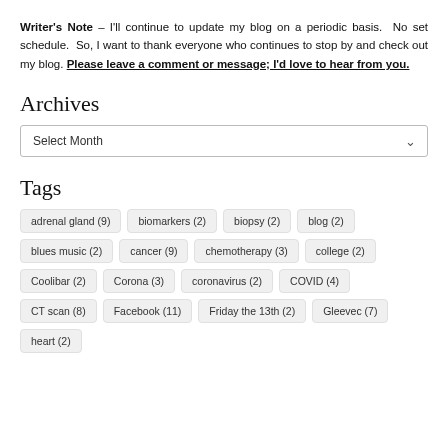Writer's Note – I'll continue to update my blog on a periodic basis. No set schedule. So, I want to thank everyone who continues to stop by and check out my blog. Please leave a comment or message; I'd love to hear from you.
Archives
Select Month (dropdown)
Tags
adrenal gland (9)
biomarkers (2)
biopsy (2)
blog (2)
blues music (2)
cancer (9)
chemotherapy (3)
college (2)
Coolibar (2)
Corona (3)
coronavirus (2)
COVID (4)
CT scan (8)
Facebook (11)
Friday the 13th (2)
Gleevec (7)
heart (2)